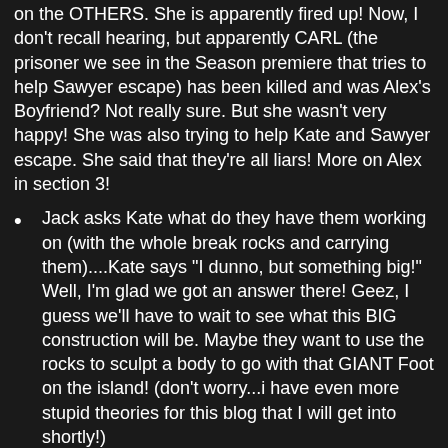on the OTHERS. She is apparently fired up! Now, I don't recall hearing, but apparently CARL (the prisoner we see in the Season premiere that tries to help Sawyer escape) has been killed and was Alex's Boyfriend? Not really sure. But she wasn't very happy! She was also trying to help Kate and Sawyer escape. She said that they're all liars! More on Alex in section 3!
Jack asks Kate what do they have them working on (with the whole break rocks and carrying them)....Kate says "I dunno, but something big!" Well, I'm glad we got an answer there! Geez, I guess we'll have to wait to see what this BIG construction will be. Maybe they want to use the rocks to sculpt a body to go with that GIANT Foot on the island! (don't worry...i have even more stupid theories for this blog that I will get into shortly!)
Sawyer and Kate both express their LOVE for each other. But does Kate know the meaning of love? She really never says it to him...she just kisses him. We...